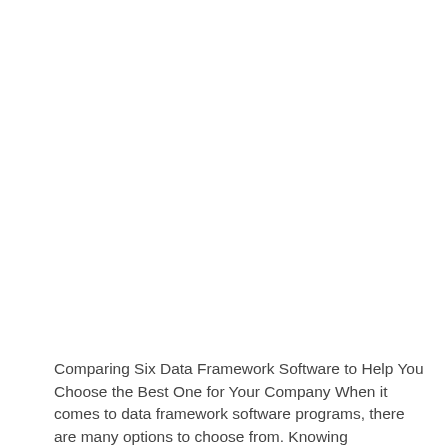Comparing Six Data Framework Software to Help You Choose the Best One for Your Company When it comes to data framework software programs, there are many options to choose from. Knowing